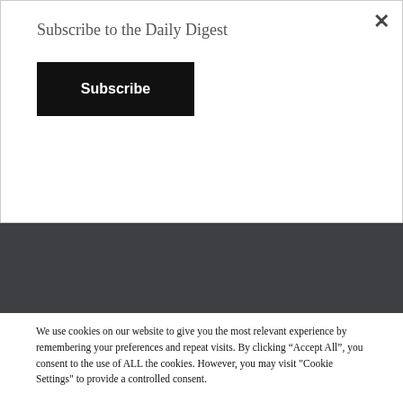Subscribe to the Daily Digest
Subscribe
promoting them through vast social media and email networks. Additionally we host events, provide commentary for traditional media shows, and give speeches to groups of all sizes.
Main Office
We use cookies on our website to give you the most relevant experience by remembering your preferences and repeat visits. By clicking “Accept All”, you consent to the use of ALL the cookies. However, you may visit "Cookie Settings" to provide a controlled consent.
Cookie Settings
Accept All